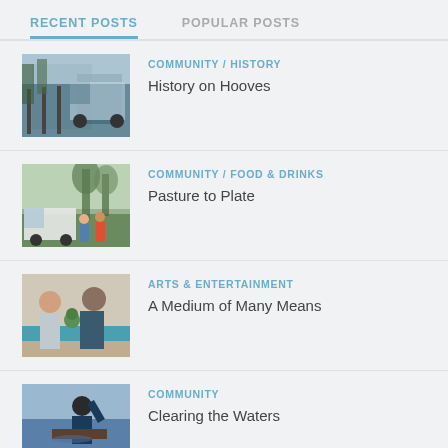RECENT POSTS
POPULAR POSTS
[Figure (photo): Cattle being loaded onto a truck at a farm facility]
COMMUNITY / HISTORY
History on Hooves
[Figure (photo): Outdoor market scene with a van and trees in background]
COMMUNITY / FOOD & DRINKS
Pasture to Plate
[Figure (photo): Man and woman standing at a counter or workbench indoors]
ARTS & ENTERTAINMENT
A Medium of Many Means
[Figure (photo): Person on a boat or dock working on the water]
COMMUNITY
Clearing the Waters